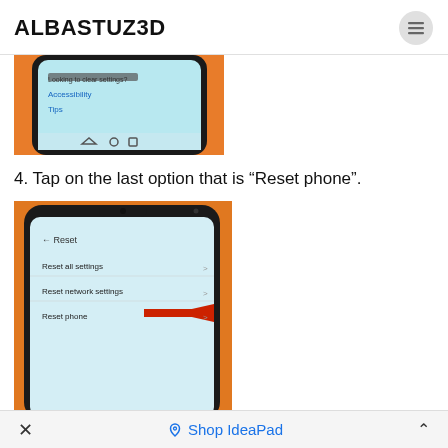ALBASTUZ3D
[Figure (photo): Top portion of a smartphone showing settings menu with options including Accessibility and Tips, navigation bar visible at bottom]
4. Tap on the last option that is “Reset phone”.
[Figure (photo): Smartphone showing Reset menu with options: Reset all settings, Reset network settings, Reset phone (highlighted with red arrow pointing to it)]
×    Shop IdeaPad   ˄